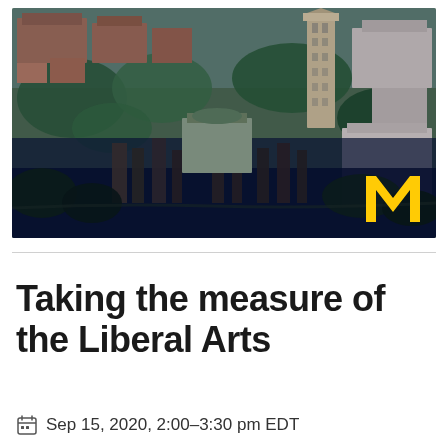[Figure (photo): Aerial photograph of University of Michigan campus showing buildings, trees, and Burton Memorial Tower, with the University of Michigan block M logo in yellow/gold in the lower right corner]
Taking the measure of the Liberal Arts
Sep 15, 2020, 2:00–3:30 pm EDT